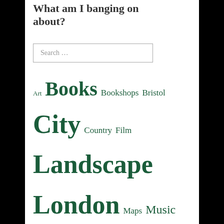What am I banging on about?
Search ...
[Figure (other): Tag cloud with categories: Art, Books, Bookshops, Bristol, City, Country, Film, Landscape, London, Maps, Music, Norwood, Place, Poetry, Records]
Tags
[Figure (other): Tag cloud with tags: Birds, Books, Bookshops, Bristol, Crystal Palace, Folklore, Ghosts, Hidden places, Hills, Lambeth, London, Maps, matt gilbert, Norwood, Place, poem, poems, Poetry]